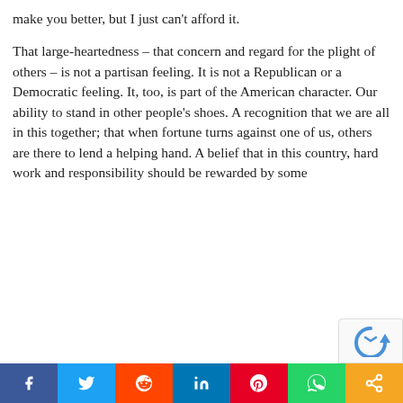make you better, but I just can't afford it.

That large-heartedness – that concern and regard for the plight of others – is not a partisan feeling. It is not a Republican or a Democratic feeling. It, too, is part of the American character. Our ability to stand in other people's shoes. A recognition that we are all in this together; that when fortune turns against one of us, others are there to lend a helping hand. A belief that in this country, hard work and responsibility should be rewarded by some
[Figure (other): Social media share bar with icons for Facebook, Twitter, Reddit, LinkedIn, Pinterest, WhatsApp, and a generic share button]